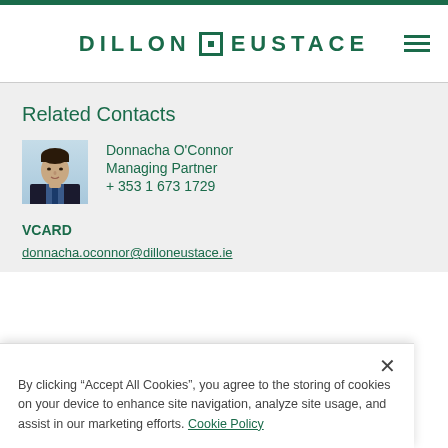[Figure (logo): Dillon Eustace law firm logo with green text and square icon, plus hamburger menu icon]
Related Contacts
[Figure (photo): Headshot photo of Donnacha O'Connor, a man in a dark suit]
Donnacha O'Connor
Managing Partner
+ 353 1 673 1729
VCARD
donnacha.oconnor@dilloneustace.ie
By clicking “Accept All Cookies”, you agree to the storing of cookies on your device to enhance site navigation, analyze site usage, and assist in our marketing efforts. Cookie Policy